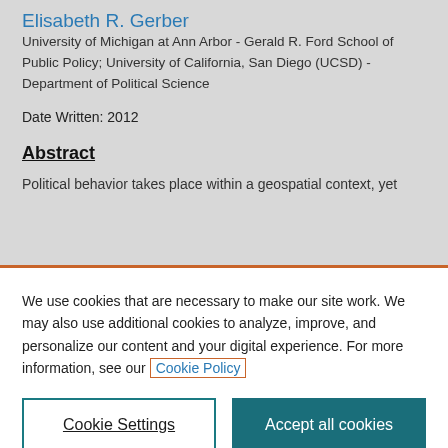Elisabeth R. Gerber
University of Michigan at Ann Arbor - Gerald R. Ford School of Public Policy; University of California, San Diego (UCSD) - Department of Political Science
Date Written: 2012
Abstract
Political behavior takes place within a geospatial context, yet studies of political behavior often omit their influence f
We use cookies that are necessary to make our site work. We may also use additional cookies to analyze, improve, and personalize our content and your digital experience. For more information, see our Cookie Policy
Cookie Settings
Accept all cookies